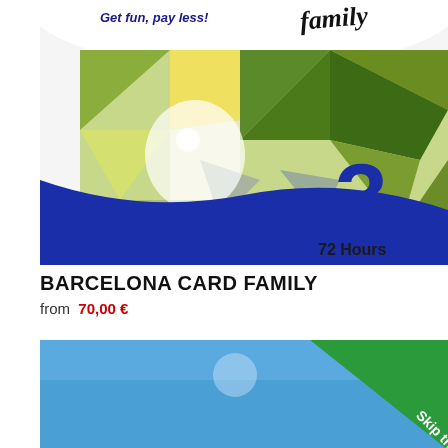[Figure (photo): Barcelona Card Family product image showing a colorful card with green and yellow mosaic tile pattern (Gaudi-style), a large blue number '3' and text '72 Hours', with 'family' branding at top right and 'Get fun, pay less!' tagline. Blue wave sweeps across the bottom of the card.]
BARCELONA CARD FAMILY
from 70,00 €
[Figure (photo): Partial image of another product card with blue background and green 'Skip the line' diagonal banner in top right corner.]